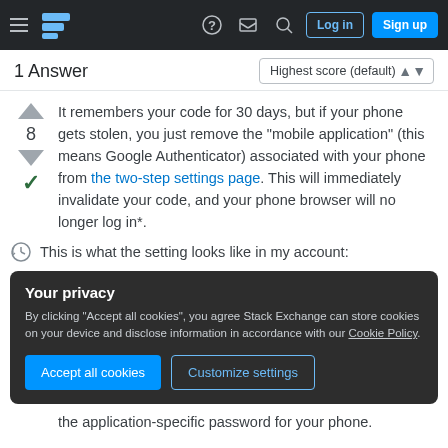Stack Exchange navigation bar with hamburger menu, logo, help, inbox, search, Log in, Sign up
1 Answer
It remembers your code for 30 days, but if your phone gets stolen, you just remove the "mobile application" (this means Google Authenticator) associated with your phone from the two-step settings page. This will immediately invalidate your code, and your phone browser will no longer log in*.
This is what the setting looks like in my account:
Your privacy
By clicking "Accept all cookies", you agree Stack Exchange can store cookies on your device and disclose information in accordance with our Cookie Policy.
the application-specific password for your phone.